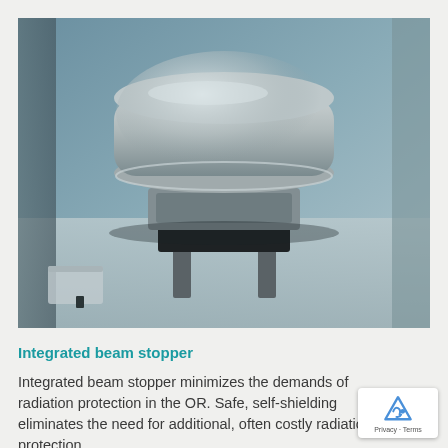[Figure (photo): Close-up photograph of an integrated beam stopper device — a large rounded metallic disc/plate component mounted on a mechanical stand on a flat surface, likely medical imaging equipment in an operating room context.]
Integrated beam stopper
Integrated beam stopper minimizes the demands of radiation protection in the OR. Safe, self-shielding eliminates the need for additional, often costly radiation protection.